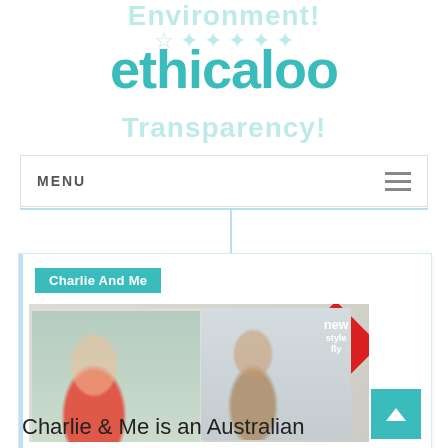Environment!
ethicaloo
Transparency!
MENU
Charlie And Me
[Figure (photo): Two toddlers in clothing — a girl in a red cardigan and a boy in a tan jacket, with a red diamond badge reading 'new styles fly']
Charlie & Me is an Australian